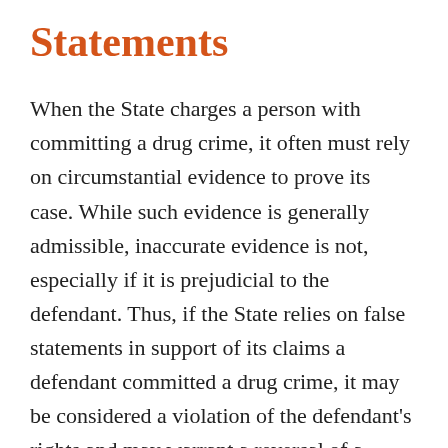Statements
When the State charges a person with committing a drug crime, it often must rely on circumstantial evidence to prove its case. While such evidence is generally admissible, inaccurate evidence is not, especially if it is prejudicial to the defendant. Thus, if the State relies on false statements in support of its claims a defendant committed a drug crime, it may be considered a violation of the defendant’s rights and may warrant a reversal of a conviction. What constitutes prejudicial evidence sufficient to vacate a guilty verdict was the topic of a recent New Jersey opinion in a case in which the defendant was convicted of multiple drug crimes after false statements were made to the jury. If you